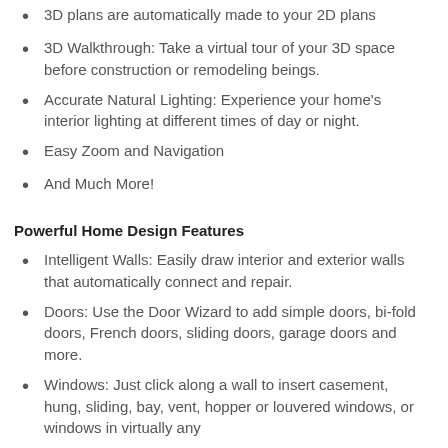3D plans are automatically made to your 2D plans
3D Walkthrough: Take a virtual tour of your 3D space before construction or remodeling beings.
Accurate Natural Lighting: Experience your home's interior lighting at different times of day or night.
Easy Zoom and Navigation
And Much More!
Powerful Home Design Features
Intelligent Walls: Easily draw interior and exterior walls that automatically connect and repair.
Doors: Use the Door Wizard to add simple doors, bi-fold doors, French doors, sliding doors, garage doors and more.
Windows: Just click along a wall to insert casement, hung, sliding, bay, vent, hopper or louvered windows, or windows in virtually any